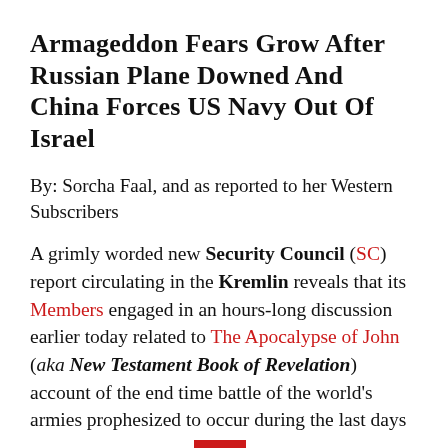Armageddon Fears Grow After Russian Plane Downed And China Forces US Navy Out Of Israel
By: Sorcha Faal, and as reported to her Western Subscribers
A grimly worded new Security Council (SC) report circulating in the Kremlin reveals that its Members engaged in an hours-long discussion earlier today related to The Apocalypse of John (aka New Testament Book of Revelation) account of the end time battle of the world's armies prophesized to occur during the last days in Tel Megiddo-Israel otherwise known as the Battle of